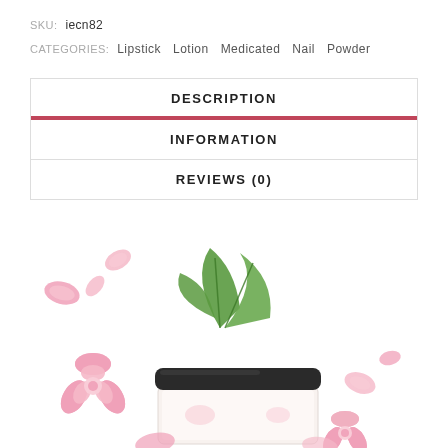SKU: iecn82
CATEGORIES: Lipstick Lotion Medicated Nail Powder
| DESCRIPTION |
| INFORMATION |
| REVIEWS (0) |
[Figure (photo): Product photo of a cosmetic jar with a black lid surrounded by pink roses, green leaves, and scattered rose petals on a white background]